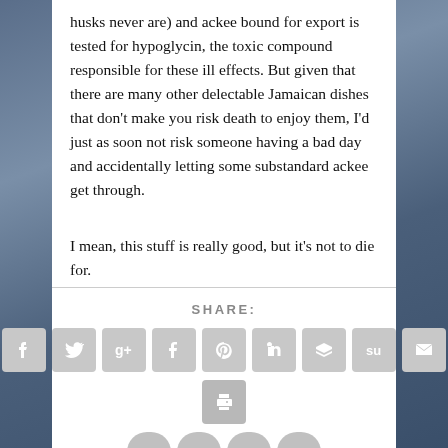husks never are) and ackee bound for export is tested for hypoglycin, the toxic compound responsible for these ill effects. But given that there are many other delectable Jamaican dishes that don't make you risk death to enjoy them, I'd just as soon not risk someone having a bad day and accidentally letting some substandard ackee get through.
I mean, this stuff is really good, but it's not to die for.
SHARE:
[Figure (infographic): Social sharing icons row: Facebook, Twitter, Google+, Tumblr, Pinterest, LinkedIn, Buffer, StumbleUpon, Email]
[Figure (infographic): Social sharing icon: Print]
[Figure (infographic): Partially visible social sharing icons at the bottom of the page]